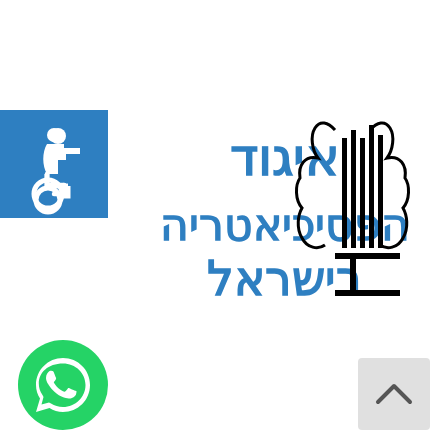[Figure (logo): Israeli Psychiatric Association logo: Hebrew text 'איגוד הפסיכיאטריה בישראל' in blue with a stylized figure/brain icon in black]
[Figure (logo): Accessibility icon - wheelchair symbol in white on blue square background, top left]
[Figure (logo): WhatsApp green circle button with phone/chat icon, bottom left]
[Figure (other): Gray square button with up-arrow chevron, bottom right]